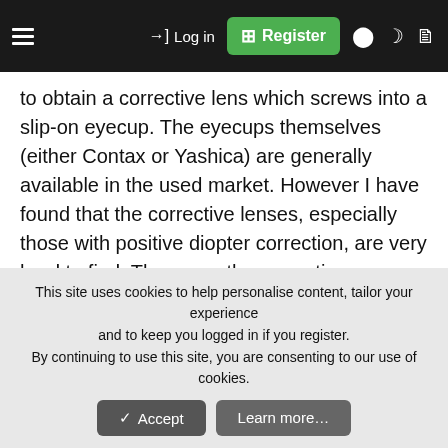Log in | Register
to obtain a corrective lens which screws into a slip-on eyecup. The eyecups themselves (either Contax or Yashica) are generally available in the used market. However I have found that the corrective lenses, especially those with positive diopter correction, are very hard to find. These are the corrections required by senior citizens suffering from presbyopia (ageing eyes).
Purely by chance (out of desparation) I found that a Nikon “eyepiece correction lens” designed to fit the Nikon
This site uses cookies to help personalise content, tailor your experience and to keep you logged in if you register.
By continuing to use this site, you are consenting to our use of cookies.